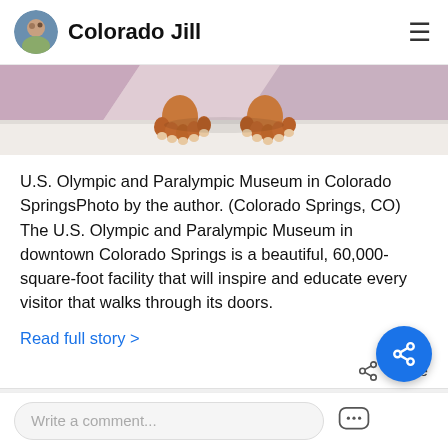Colorado Jill
[Figure (photo): Close-up photo of decorative figurine feet/claws on a museum display surface, with pink/purple geometric shapes in the background.]
U.S. Olympic and Paralympic Museum in Colorado SpringsPhoto by the author. (Colorado Springs, CO) The U.S. Olympic and Paralympic Museum in downtown Colorado Springs is a beautiful, 60,000-square-foot facility that will inspire and educate every visitor that walks through its doors.
Read full story >
Share